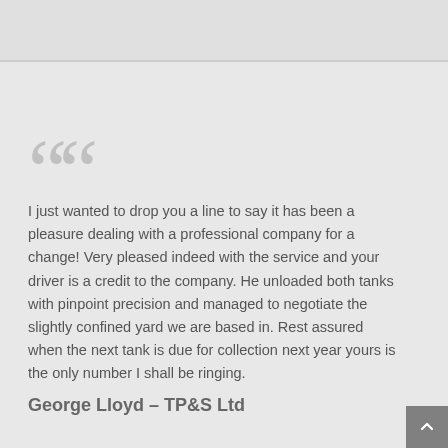I just wanted to drop you a line to say it has been a pleasure dealing with a professional company for a change! Very pleased indeed with the service and your driver is a credit to the company. He unloaded both tanks with pinpoint precision and managed to negotiate the slightly confined yard we are based in. Rest assured when the next tank is due for collection next year yours is the only number I shall be ringing.
George Lloyd – TP&S Ltd